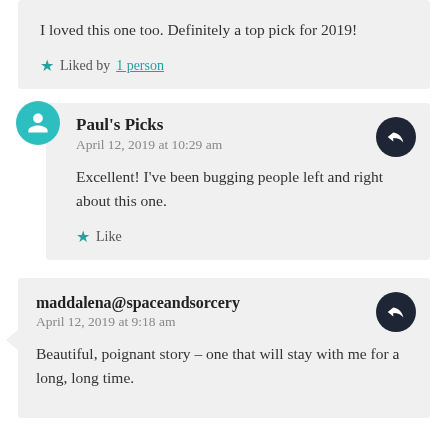I loved this one too. Definitely a top pick for 2019!
Liked by 1 person
Paul's Picks
April 12, 2019 at 10:29 am
Excellent! I've been bugging people left and right about this one.
Like
maddalena@spaceandsorcery
April 12, 2019 at 9:18 am
Beautiful, poignant story – one that will stay with me for a long, long time.